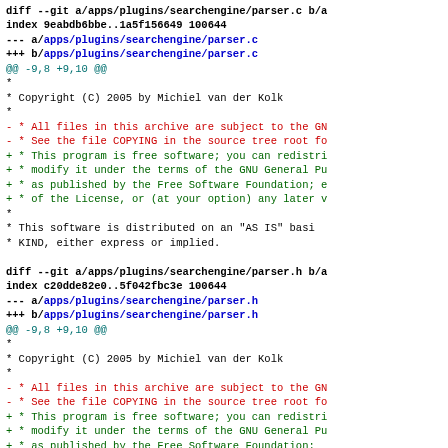diff --git a/apps/plugins/searchengine/parser.c b/a...
index 9eabdb6bbe..1a5f156649 100644
--- a/apps/plugins/searchengine/parser.c
+++ b/apps/plugins/searchengine/parser.c
@@ -9,8 +9,10 @@
*
* Copyright (C) 2005 by Michiel van der Kolk
*
- * All files in this archive are subject to the GN
- * See the file COPYING in the source tree root fo
+ * This program is free software; you can redistri
+ * modify it under the terms of the GNU General Pu
+ * as published by the Free Software Foundation; e
+ * of the License, or (at your option) any later v
*
* This software is distributed on an "AS IS" basi
* KIND, either express or implied.
diff --git a/apps/plugins/searchengine/parser.h b/a...
index c20dde82e0..5f042fbc3e 100644
--- a/apps/plugins/searchengine/parser.h
+++ b/apps/plugins/searchengine/parser.h
@@ -9,8 +9,10 @@
*
* Copyright (C) 2005 by Michiel van der Kolk
*
- * All files in this archive are subject to the GN
- * See the file COPYING in the source tree root fo
+ * This program is free software; you can redistri
+ * modify it under the terms of the GNU General Pu
+ * as published by the Free Software Foundation;